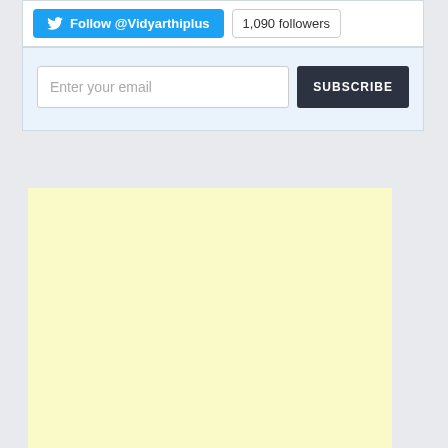[Figure (screenshot): Twitter follow widget showing 'Follow @Vidyarthiplus' button in blue with Twitter bird icon and '1,090 followers' badge, followed by an email subscription section with 'Enter your email' input field and 'SUBSCRIBE' button on a light blue background]
[Figure (other): Yellow/cream colored advertisement block placeholder]